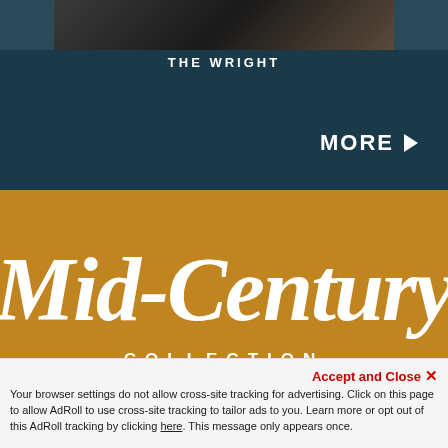[Figure (photo): Dark photograph strip at the top, partially visible]
THE WRIGHT
MORE ▶
[Figure (logo): Mid-Century Collection script logo on gold/amber background]
Who doesn't love Mid-Century style? The
Accept and Close ×
Your browser settings do not allow cross-site tracking for advertising. Click on this page to allow AdRoll to use cross-site tracking to tailor ads to you. Learn more or opt out of this AdRoll tracking by clicking here. This message only appears once.